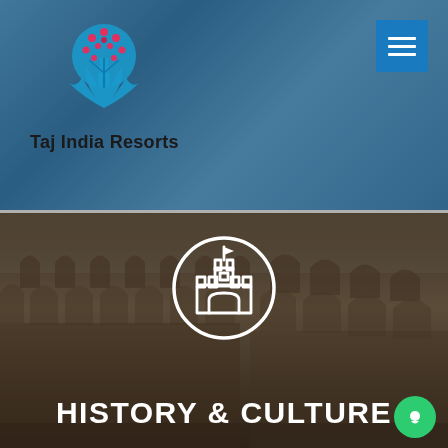[Figure (logo): Taj India Resorts logo: a stylized blue tree with red berries/flowers, with the text 'Taj India Resorts' below in black bold font]
[Figure (screenshot): Blue hamburger menu button (three horizontal white lines) in top-right corner on a blue square background]
[Figure (photo): Background photo of the Roman Colosseum with a dark overlay, featuring a white castle icon inside a circle in the center, and 'HISTORY & CULTURE' text in bold white at the bottom. A green chat bubble button is in the bottom-right corner.]
HISTORY & CULTURE